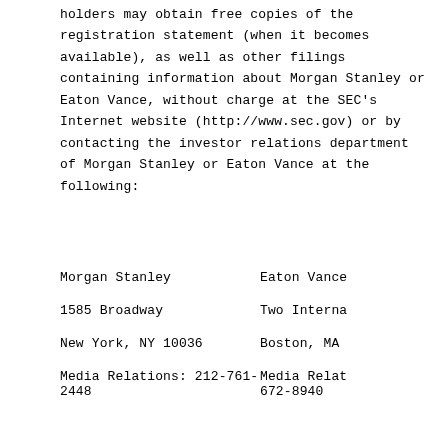holders may obtain free copies of the registration statement (when it becomes available), as well as other filings containing information about Morgan Stanley or Eaton Vance, without charge at the SEC's Internet website (http://www.sec.gov) or by contacting the investor relations department of Morgan Stanley or Eaton Vance at the following:
Morgan Stanley
1585 Broadway
New York, NY 10036
Media Relations: 212-761-2448
Eaton Vance
Two Interna
Boston, MA
Media Relat
672-8940